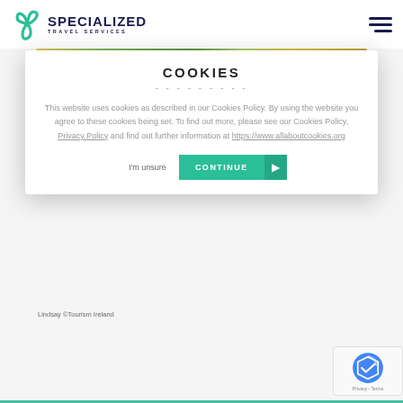[Figure (logo): Specialized Travel Services logo with triskelion icon in teal and dark navy wordmark]
[Figure (photo): Colorful banner strip showing flowers and foliage]
COOKIES
This website uses cookies as described in our Cookies Policy. By using the website you agree to these cookies being set. To find out more, please see our Cookies Policy, Privacy Policy and find out further information at https://www.allaboutcookies.org
Lindsay ©Tourism Ireland
[Figure (other): reCAPTCHA badge with Privacy - Terms]